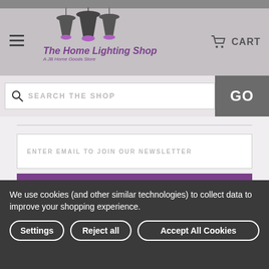The Home Lighting Shop — A JB Home Goods Store
SEARCH THE SHOP
GO
ENTER EMAIL TO JOIN OUR NEWSLETTER
SUBMIT
THE HOME LIGHTING SHOP
We use cookies (and other similar technologies) to collect data to improve your shopping experience.
Settings
Reject all
Accept All Cookies